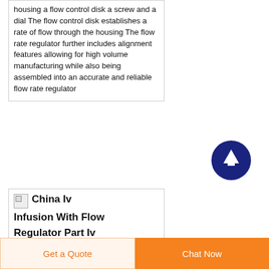housing a flow control disk a screw and a dial The flow control disk establishes a rate of flow through the housing The flow rate regulator further includes alignment features allowing for high volume manufacturing while also being assembled into an accurate and reliable flow rate regulator
[Figure (other): Dark blue circular scroll-to-top button with white upward arrow icon]
China Iv Infusion With Flow Regulator Part Iv Infusion
Get a Quote
Chat Now